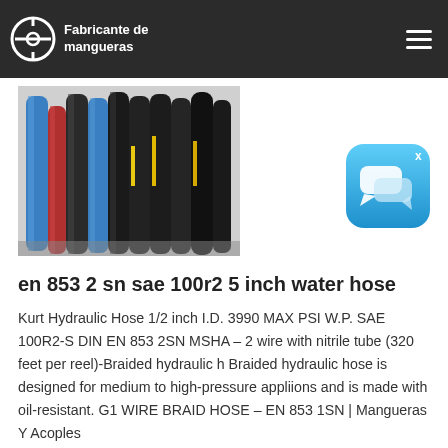Fabricante de mangueras
[Figure (photo): Multiple hydraulic hoses standing upright, showing various colors including blue, black, and red, with yellow text labels visible on the hoses.]
[Figure (other): Chat widget icon – a blue rounded square with speech bubble icons.]
en 853 2 sn sae 100r2 5 inch water hose
Kurt Hydraulic Hose 1/2 inch I.D. 3990 MAX PSI W.P. SAE 100R2-S DIN EN 853 2SN MSHA – 2 wire with nitrile tube (320 feet per reel)-Braided hydraulic h Braided hydraulic hose is designed for medium to high-pressure appliions and is made with oil-resistant. G1 WIRE BRAID HOSE – EN 853 1SN | Mangueras Y Acoples